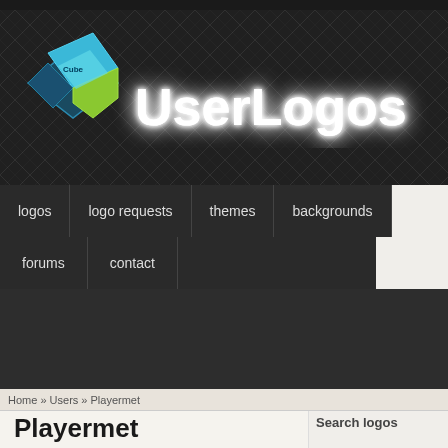[Figure (logo): UserLogos website header with cube logo graphic and 'UserLogos' text in white glowing font on dark patterned background]
logos | logo requests | themes | backgrounds | forums | contact
Home » Users » Playermet
Playermet
View   Track
Badges
Search logos
[Figure (screenshot): Search logos input field and Apply button in sidebar]